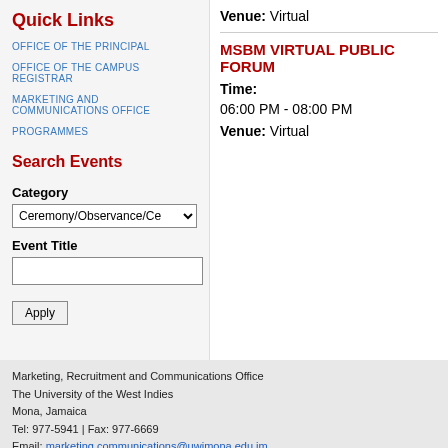Quick Links
OFFICE OF THE PRINCIPAL
OFFICE OF THE CAMPUS REGISTRAR
MARKETING AND COMMUNICATIONS OFFICE
PROGRAMMES
Search Events
Category
Ceremony/Observance/Ce
Event Title
Apply
Venue: Virtual
MSBM VIRTUAL PUBLIC FORUM
Time:
06:00 PM - 08:00 PM
Venue: Virtual
Marketing, Recruitment and Communications Office
The University of the West Indies
Mona, Jamaica
Tel: 977-5941 | Fax: 977-6669
Email: marketing.communications@uwimona.edu.jm